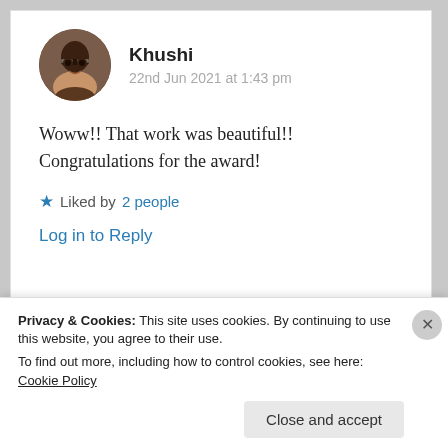[Figure (photo): Circular avatar photo of a young woman with glasses and dark hair]
Khushi
22nd Jun 2021 at 1:43 pm
Woww!! That work was beautiful!! Congratulations for the award!
★ Liked by 2 people
Log in to Reply
Privacy & Cookies: This site uses cookies. By continuing to use this website, you agree to their use.
To find out more, including how to control cookies, see here: Cookie Policy
Close and accept